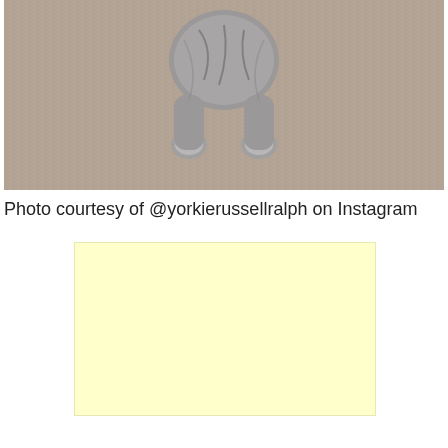[Figure (photo): Close-up photo of a small dog (Yorkie) paws/body on a textured beige/grey carpet, viewed from above. Only the lower portion of the dog is visible.]
Photo courtesy of @yorkierussellralph on Instagram
[Figure (other): A plain light yellow rectangle, likely an advertisement placeholder or banner ad area.]